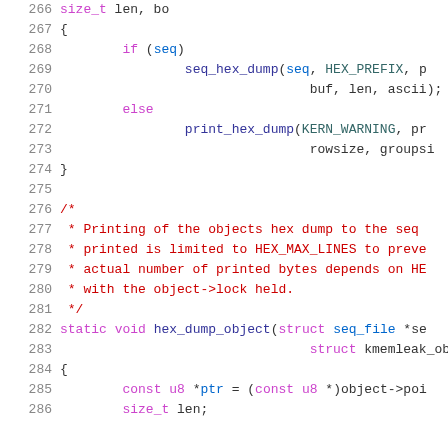Source code listing, lines 266-286, C kernel code showing hex dump functions
[Figure (other): Source code snippet showing C code for hex dump functions, lines 266-286]